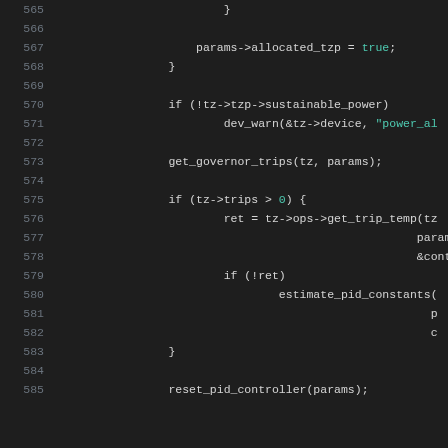[Figure (screenshot): Source code listing lines 565-585 showing C code with syntax highlighting on dark background. Code includes conditionals, function calls like get_governor_trips, get_trip_temp, estimate_pid_constants, reset_pid_controller.]